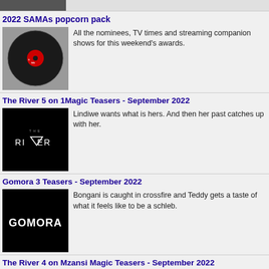[Figure (photo): Partial top image, partially cropped]
2022 SAMAs popcorn pack
[Figure (photo): Vinyl record with red label and SAMA logo]
All the nominees, TV times and streaming companion shows for this weekend's awards.
The River 5 on 1Magic Teasers - September 2022
[Figure (logo): The River TV show logo on black background]
Lindiwe wants what is hers. And then her past catches up with her.
Gomora 3 Teasers - September 2022
[Figure (logo): GOMORA show logo on black background]
Bongani is caught in crossfire and Teddy gets a taste of what it feels like to be a schleb.
The River 4 on Mzansi Magic Teasers - September 2022
[Figure (logo): The River TV show logo on black background]
Season 4 premiere! Mabutho has everyone freaked out as he refuses to accept reality.